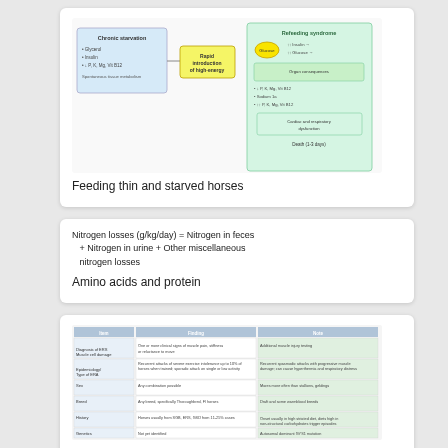[Figure (flowchart): Flowchart showing refeeding syndrome pathway for thin and starved horses]
Feeding thin and starved horses
Amino acids and protein
[Figure (table-as-image): Table showing exercise-associated muscle disorders with columns for item, finding, and note]
Exercise-associated muscle disorders
[Figure (flowchart): Flowchart diagram at bottom of page (partially visible)]